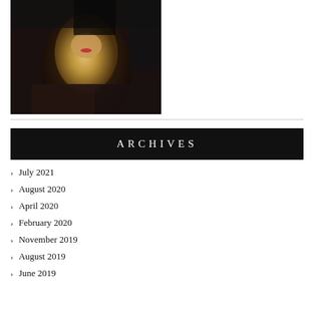[Figure (photo): A woman with blonde hair and red lips, wearing a black off-shoulder top, partially obscured by shadow and a dark hat]
ARCHIVES
July 2021
August 2020
April 2020
February 2020
November 2019
August 2019
June 2019